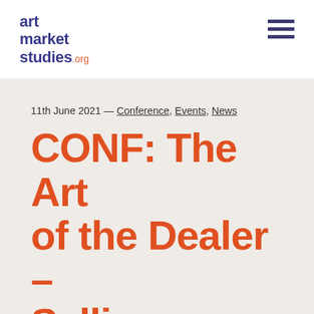art market studies.org
11th June 2021 — Conference, Events, News
CONF: The Art of the Dealer – Selling Antique Ceramics, 1850